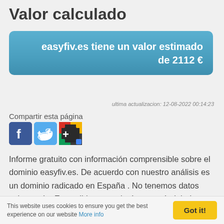Valor calculado
easyfiv.es tiene un valor estimado de 2112 €
ultima actualizacion: 12-08-2022 00:14:23
Compartir esta página
[Figure (other): Social media share icons: Facebook (blue F), Twitter (blue bird), Google+ (colorful plus on dark background)]
Informe gratuito con información comprensible sobre el dominio easyfiv.es. De acuerdo con nuestro análisis es un dominio radicado en España . No tenemos datos sobre su Ip. Es posible que todavía no esté alojado en ningún servidor. A partir de los datos de tráfico de esta página web hemos
This website uses cookies to ensure you get the best experience on our website More info  Got it!